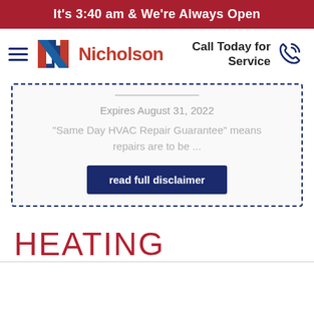It's 3:40 am & We're Always Open
[Figure (logo): Nicholson HVAC company logo with hamburger menu, stylized N logo in red and blue, and brand name in red]
Call Today for Service
Expires August 31, 2022
"Same Day HVAC Repair Guarantee" means repairs are to be ...
read full disclaimer
HEATING